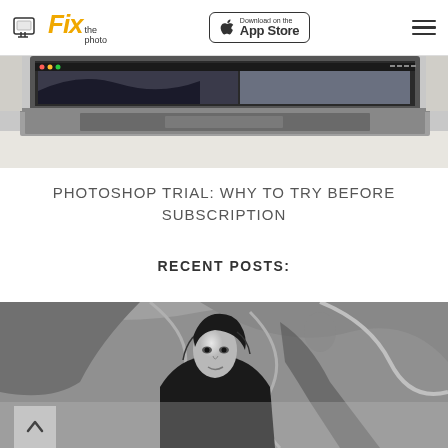Fix the photo — Download on the App Store
[Figure (photo): Laptop computer with a photo editing application open on screen, partially shown from top, keyboard visible]
PHOTOSHOP TRIAL: WHY TO TRY BEFORE SUBSCRIPTION
RECENT POSTS:
[Figure (photo): Black and white fashion portrait of a woman in a dark blazer looking at camera, artistic moody background]